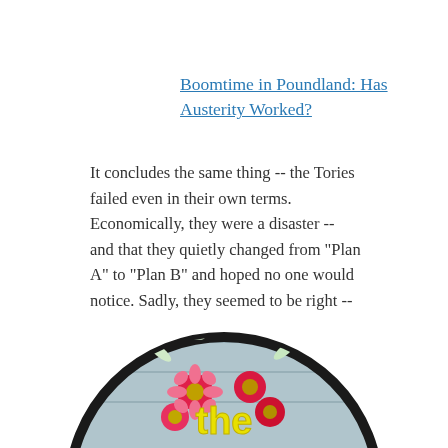Boomtime in Poundland: Has Austerity Worked?
It concludes the same thing -- the Tories failed even in their own terms. Economically, they were a disaster -- and that they quietly changed from "Plan A" to "Plan B" and hoped no one would notice. Sadly, they seemed to be right -- those pointing the facts out were ignored in the mainstream media.
[Figure (photo): Circular cropped photograph showing flowers and the word 'the' in yellow text, with colourful daisy-like flowers arranged on a wooden surface background]